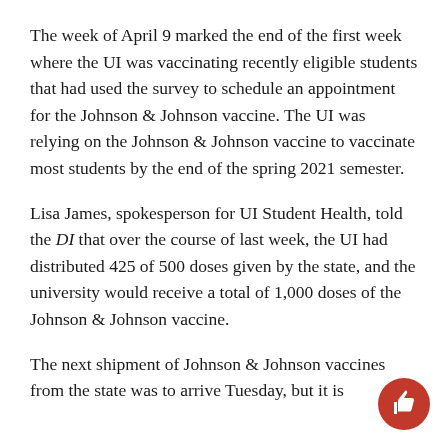The week of April 9 marked the end of the first week where the UI was vaccinating recently eligible students that had used the survey to schedule an appointment for the Johnson & Johnson vaccine. The UI was relying on the Johnson & Johnson vaccine to vaccinate most students by the end of the spring 2021 semester.
Lisa James, spokesperson for UI Student Health, told the DI that over the course of last week, the UI had distributed 425 of 500 doses given by the state, and the university would receive a total of 1,000 doses of the Johnson & Johnson vaccine.
The next shipment of Johnson & Johnson vaccines from the state was to arrive Tuesday, but it is